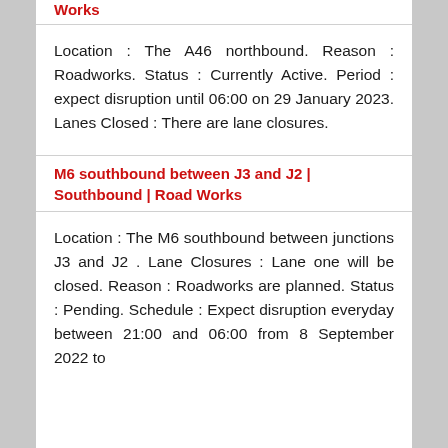Works
Location : The A46 northbound. Reason : Roadworks. Status : Currently Active. Period : expect disruption until 06:00 on 29 January 2023. Lanes Closed : There are lane closures.
M6 southbound between J3 and J2 | Southbound | Road Works
Location : The M6 southbound between junctions J3 and J2 . Lane Closures : Lane one will be closed. Reason : Roadworks are planned. Status : Pending. Schedule : Expect disruption everyday between 21:00 and 06:00 from 8 September 2022 to